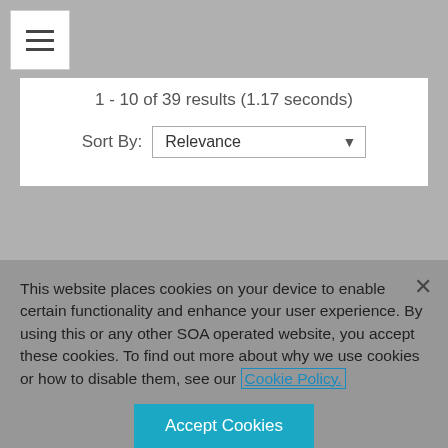1 - 10 of 39 results (1.17 seconds)
Sort By: Relevance
International Section News, September 1998, Issue No. 17
financial footing C To allow health carriers to gain direct access to the capital of foreign partners C To ... sponsorship of insurance over the years,
This website places cookies on your device to enable certain functionality and enhance your user experience. By using this or any other SOA operated website, you accept these cookies. To find out more about why we use cookies or how to disable them, see our Cookie Policy.
Accept Cookies